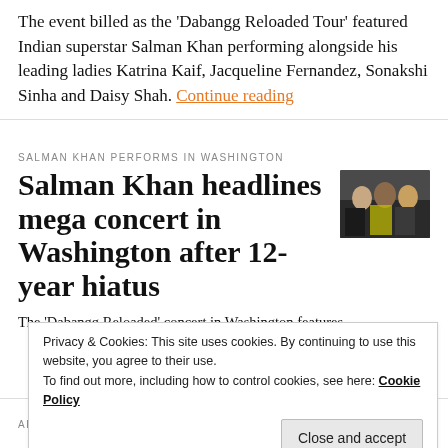The event billed as the 'Dabangg Reloaded Tour' featured Indian superstar Salman Khan performing alongside his leading ladies Katrina Kaif, Jacqueline Fernandez, Sonakshi Sinha and Daisy Shah. Continue reading
SALMAN KHAN PERFORMS IN WASHINGTON
Salman Khan headlines mega concert in Washington after 12-year hiatus
[Figure (photo): Thumbnail photo of group of people, likely Salman Khan and co-performers]
The 'Dabangg Reloaded' concert in Washington features
Privacy & Cookies: This site uses cookies. By continuing to use this website, you agree to their use. To find out more, including how to control cookies, see here: Cookie Policy
Close and accept
ARIJIT SINGH CONCERT IN WASHINGTON AREA
[Figure (photo): Thumbnail photo at bottom right]